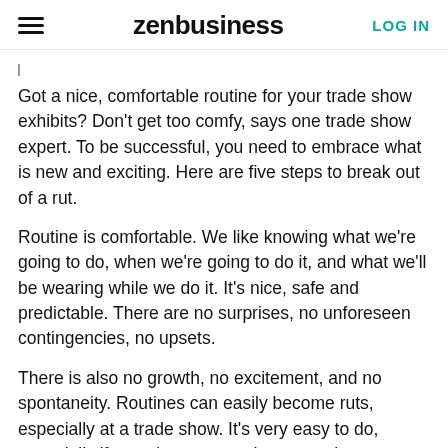zenbusiness   LOG IN
Got a nice, comfortable routine for your trade show exhibits? Don't get too comfy, says one trade show expert. To be successful, you need to embrace what is new and exciting. Here are five steps to break out of a rut.
Routine is comfortable. We like knowing what we're going to do, when we're going to do it, and what we'll be wearing while we do it. It's nice, safe and predictable. There are no surprises, no unforeseen contingencies, no upsets.
There is also no growth, no excitement, and no spontaneity. Routines can easily become ruts, especially at a trade show. It's very easy to do, especially if you always go to the same shows, display in the same location, use the same graphics and literature, and go through the same sales spiel. It might seem effective. It'll definitely be comfortable.
We do some of the things that it takes to be successful...